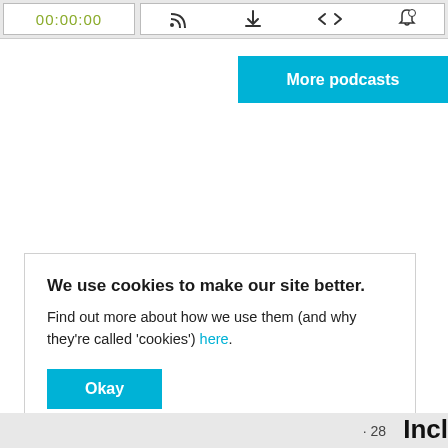[Figure (screenshot): Podcast player bar with timestamp 00:00:00 in green and control icons: RSS/subscribe, download, embed code, bell/notification]
[Figure (screenshot): Cyan 'More podcasts' button on right side]
We use cookies to make our site better. Find out more about how we use them (and why they're called 'cookies') here.
[Figure (screenshot): Cyan 'Okay' button in cookie consent modal]
· 28  Incl